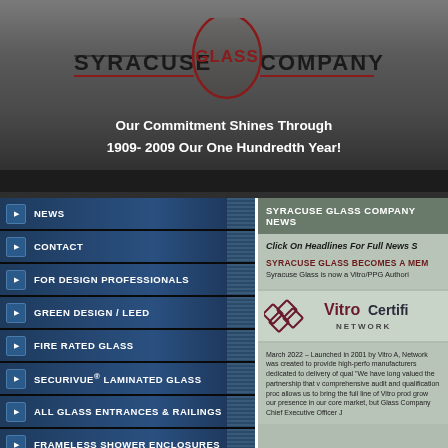[Figure (logo): Syracuse Glass Company logo with stylized GLASS text in red diamond shape, SYRACUSE and COMPANY in black bold text, with red underline]
Our Commitment Shines Through 1909- 2009 Our One Hundredth Year!
NEWS
CONTACT
FOR DESIGN PROFESSIONALS
GREEN DESIGN / LEED
FIRE RATED GLASS
SECURIVUE® LAMINATED GLASS
ALL GLASS ENTRANCES & RAILINGS
FRAMELESS SHOWER ENCLOSURES
GLASS FABRICATION
SYRACUSE GLASS COMPANY NEWS
Click On Headlines For Full News S
SYRACUSE GLASS BECOMES A MEM
Syracuse Glass is now a Vitro/PPG Authori
[Figure (logo): Vitro Certified Network logo with diamond lattice icon in dark red/maroon and Vitro Certifi... text in dark red, NETWORK subtitle]
March 2022 – Launched in 2001 by Vitro A, Network was created to provide high-perfo manufacturers dedicated to delivery of qual "We have long valued the partnership that v comprehensive audit and qualification proc allows us to bring the full line of Vitro prod grow our presence in our core market, but Glass Company Chief Executive Officer J